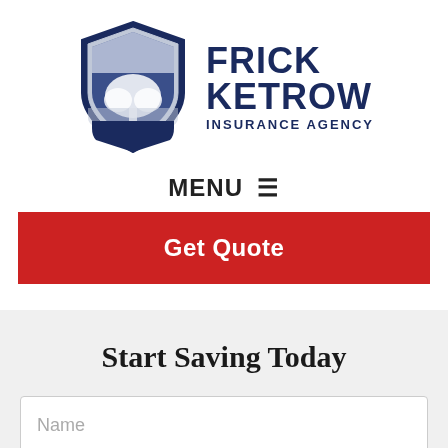[Figure (logo): Frick Ketrow Insurance Agency logo with shield containing a tree and company name text]
MENU ☰
Get Quote
Start Saving Today
Name